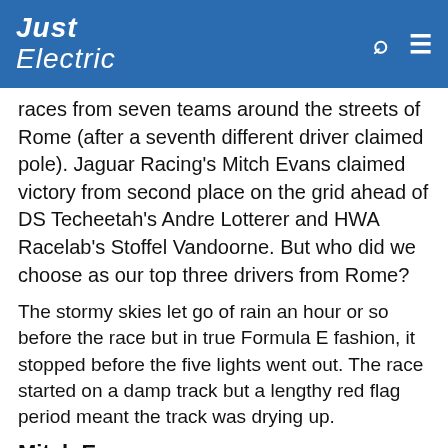Just Electric
races from seven teams around the streets of Rome (after a seventh different driver claimed pole). Jaguar Racing's Mitch Evans claimed victory from second place on the grid ahead of DS Techeetah's Andre Lotterer and HWA Racelab's Stoffel Vandoorne. But who did we choose as our top three drivers from Rome?
The stormy skies let go of rain an hour or so before the race but in true Formula E fashion, it stopped before the five lights went out. The race started on a damp track but a lengthy red flag period meant the track was drying up.
Mitch Evans
Ever since his first season in the series, Evans showed his skill at the wheel, even when his car was